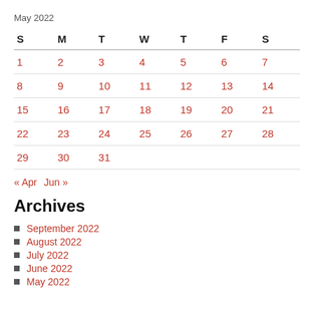May 2022
| S | M | T | W | T | F | S |
| --- | --- | --- | --- | --- | --- | --- |
| 1 | 2 | 3 | 4 | 5 | 6 | 7 |
| 8 | 9 | 10 | 11 | 12 | 13 | 14 |
| 15 | 16 | 17 | 18 | 19 | 20 | 21 |
| 22 | 23 | 24 | 25 | 26 | 27 | 28 |
| 29 | 30 | 31 |  |  |  |  |
« Apr  Jun »
Archives
September 2022
August 2022
July 2022
June 2022
May 2022